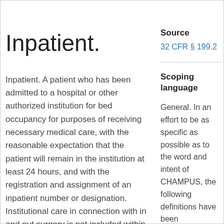Inpatient.
Inpatient. A patient who has been admitted to a hospital or other authorized institution for bed occupancy for purposes of receiving necessary medical care, with the reasonable expectation that the patient will remain in the institution at least 24 hours, and with the registration and assignment of an inpatient number or designation. Institutional care in connection with in and out surgery is not included within
Source
32 CFR § 199.2
Scoping language
General. In an effort to be as specific as possible as to the word and intent of CHAMPUS, the following definitions have been